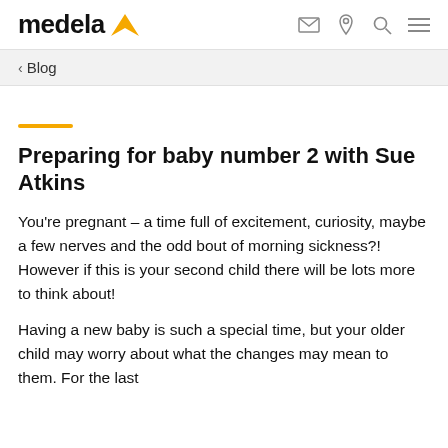medela
< Blog
Preparing for baby number 2 with Sue Atkins
You're pregnant – a time full of excitement, curiosity, maybe a few nerves and the odd bout of morning sickness?! However if this is your second child there will be lots more to think about!
Having a new baby is such a special time, but your older child may worry about what the changes may mean to them. For the last